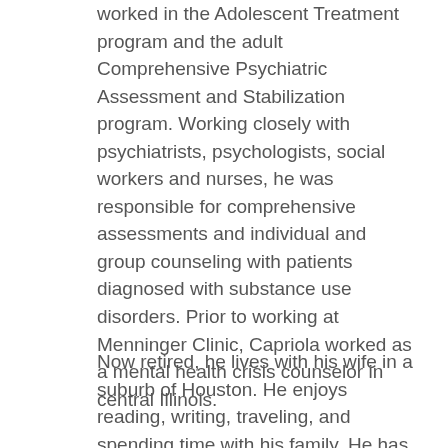worked in the Adolescent Treatment program and the adult Comprehensive Psychiatric Assessment and Stabilization program. Working closely with psychiatrists, psychologists, social workers and nurses, he was responsible for comprehensive assessments and individual and group counseling with patients diagnosed with substance use disorders. Prior to working at Menninger Clinic, Capriola worked as a mental health crisis counselor in central Illinois.
Now retired, he lives with his wife in a suburb of Houston. He enjoys reading, writing, traveling, and spending time with his family. He has one son, two stepchildren and four grandchildren.
13. What do you do when your child is melting down?